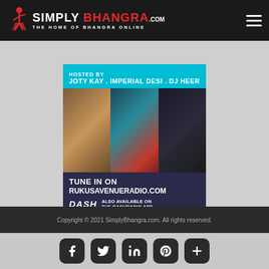SIMPLY BHANGRA .com — THE HOME OF BHANGRA ONLINE
[Figure (photo): Promotional banner for a radio show hosted by Joty Kay, Imperial Desi, and DJ Heer. Teal header reads 'HOSTED BY JOTY KAY . IMPERIAL DESI . DJ HEER' with three host photos below. Dark purple bottom section reads 'TUNE IN ON RUKUSAVENUERADIO.COM' and 'DASH — ALSO AVAILABLE ON THE DASHRADIO APP'.]
Copyright © 2021 SimplyBhangra.com. All rights reserved.
[Figure (infographic): Social media icon buttons: Facebook, Twitter, LinkedIn, Pinterest, and a plus (+) button, displayed as dark rounded square icons on a gray background.]